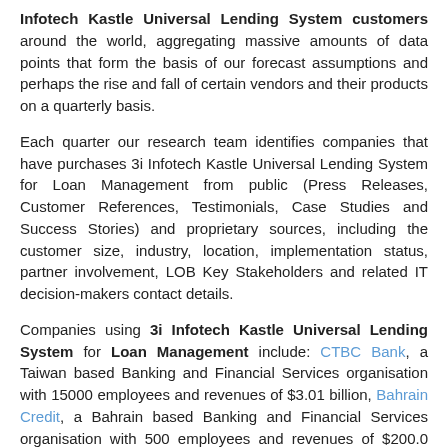Infotech Kastle Universal Lending System customers around the world, aggregating massive amounts of data points that form the basis of our forecast assumptions and perhaps the rise and fall of certain vendors and their products on a quarterly basis.
Each quarter our research team identifies companies that have purchases 3i Infotech Kastle Universal Lending System for Loan Management from public (Press Releases, Customer References, Testimonials, Case Studies and Success Stories) and proprietary sources, including the customer size, industry, location, implementation status, partner involvement, LOB Key Stakeholders and related IT decision-makers contact details.
Companies using 3i Infotech Kastle Universal Lending System for Loan Management include: CTBC Bank, a Taiwan based Banking and Financial Services organisation with 15000 employees and revenues of $3.01 billion, Bahrain Credit, a Bahrain based Banking and Financial Services organisation with 500 employees and revenues of $200.0 million, Saudi Home Loans, a Saudi Arabia based Banking and Financial Services organisation with 380 employees and revenues of $61.0 million,